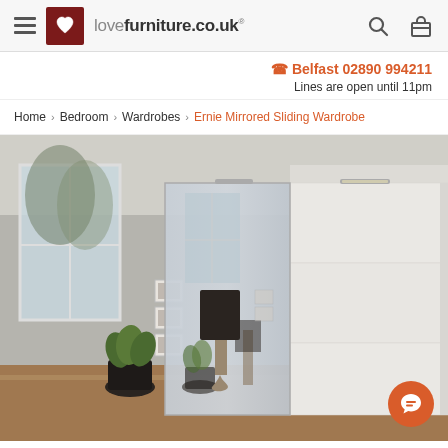lovefurniture.co.uk — navigation header with hamburger menu, logo, search and bag icons
Belfast 02890 994211
Lines are open until 11pm
Home > Bedroom > Wardrobes > Ernie Mirrored Sliding Wardrobe
[Figure (photo): Product photo of the Ernie Mirrored Sliding Wardrobe — a large white wardrobe with mirrored sliding door in a modern grey-walled room with floor lamp, potted plant, and framed pictures on the wall. A chat button (orange circle with speech bubble) appears in the bottom-right corner.]